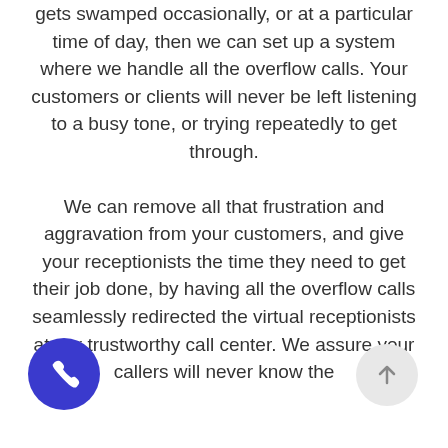gets swamped occasionally, or at a particular time of day, then we can set up a system where we handle all the overflow calls. Your customers or clients will never be left listening to a busy tone, or trying repeatedly to get through.

We can remove all that frustration and aggravation from your customers, and give your receptionists the time they need to get their job done, by having all the overflow calls seamlessly redirected the virtual receptionists at our trustworthy call center. We assure your callers will never know the